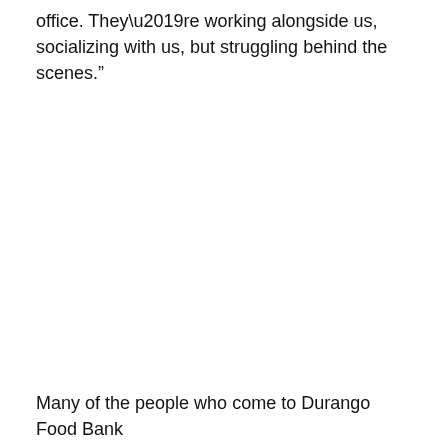office. They’re working alongside us, socializing with us, but struggling behind the scenes.”
Many of the people who come to Durango Food Bank